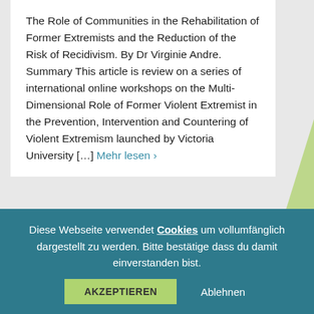The Role of Communities in the Rehabilitation of Former Extremists and the Reduction of the Risk of Recidivism. By Dr Virginie Andre. Summary This article is review on a series of international online workshops on the Multi-Dimensional Role of Former Violent Extremist in the Prevention, Intervention and Countering of Violent Extremism launched by Victoria University […] Mehr lesen ›
Reporting about Violent Extremism and P/CVE
[Figure (photo): Photograph of a Canon camera on a dark surface]
Diese Webseite verwendet Cookies um vollumfänglich dargestellt zu werden. Bitte bestätige dass du damit einverstanden bist.  AKZEPTIEREN  Ablehnen